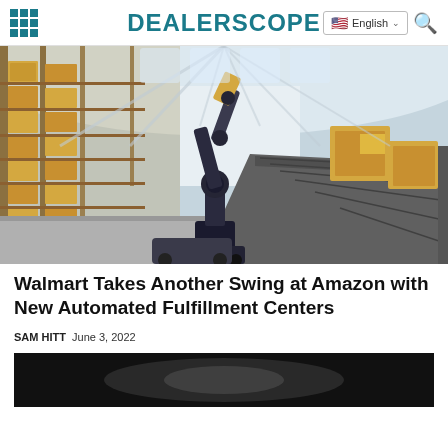DEALERSCOPE
[Figure (photo): Automated warehouse with a robotic arm picking up a cardboard box from a conveyor belt, shelves with boxes in background]
Walmart Takes Another Swing at Amazon with New Automated Fulfillment Centers
SAM HITT  June 3, 2022
[Figure (photo): Dark image, partially visible, bottom of page]